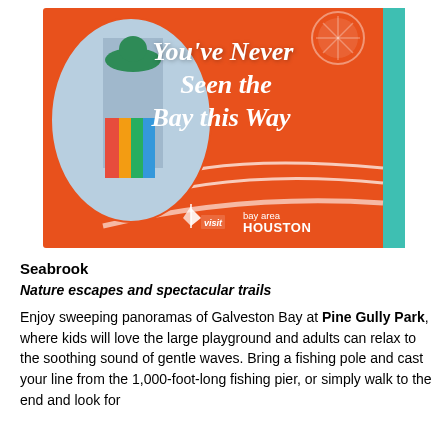[Figure (illustration): Tourism advertisement for Visit Bay Area Houston. Orange background with a girl in a colorful dress and green hat on the left side in a circular frame. White cursive text reads 'You've Never Seen the Bay this Way'. Teal stripe on right reads 'KEMAH • LEAGUE CITY • NASSAU BAY • SEABROOK'. Visit Bay Area Houston logo at bottom.]
Seabrook
Nature escapes and spectacular trails
Enjoy sweeping panoramas of Galveston Bay at Pine Gully Park, where kids will love the large playground and adults can relax to the soothing sound of gentle waves. Bring a fishing pole and cast your line from the 1,000-foot-long fishing pier, or simply walk to the end and look for